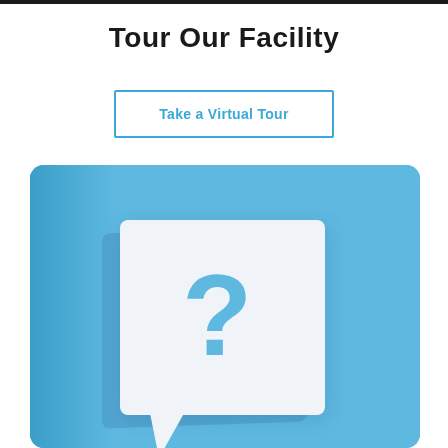Tour Our Facility
Take a Virtual Tour
[Figure (illustration): Blue background with a white speech-bubble card containing a cut-out question mark, creating a 3D paper craft effect on a light blue surface.]